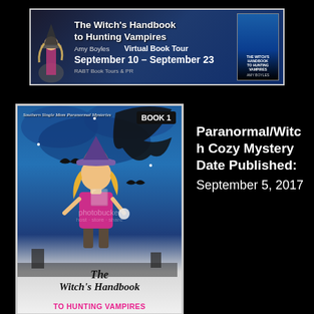[Figure (illustration): Banner ad for 'The Witch's Handbook to Hunting Vampires' by Amy Boyles — Virtual Book Tour September 10 - September 23, presented by RABT Book Tours & PR. Shows a witch silhouette and a book thumbnail on a dark fantasy background.]
[Figure (illustration): Book cover for 'The Witch's Handbook to Hunting Vampires' — Book 1 in the Southern Single Mom Paranormal Mysteries series. Shows a witch in a pink top and witch hat against a blue night sky with bats and dark clouds. Title in stylized script at bottom with 'TO HUNTING VAMPIRES' in pink block letters. Photobucket watermark overlay visible.]
Paranormal/Witch Cozy Mystery Date Published: September 5, 2017